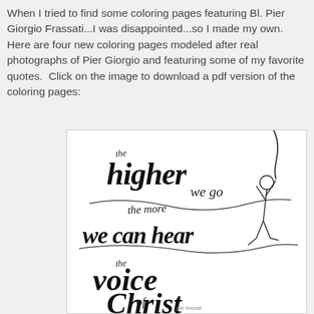When I tried to find some coloring pages featuring Bl. Pier Giorgio Frassati...I was disappointed...so I made my own.  Here are four new coloring pages modeled after real photographs of Pier Giorgio and featuring some of my favorite quotes.  Click on the image to download a pdf version of the coloring pages:
[Figure (illustration): A hand-lettered coloring page illustration showing the quote 'the higher we go the more we can hear the voice of Christ' in decorative script lettering, with a sketch of a climbing figure on the right side reaching upward.]